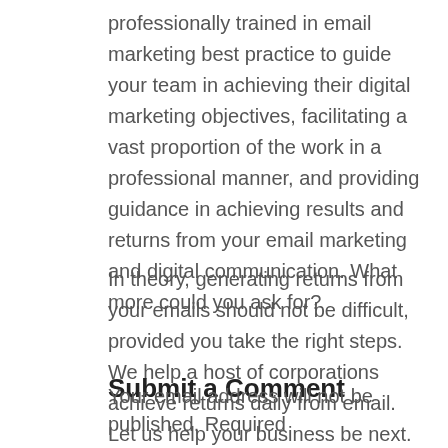professionally trained in email marketing best practice to guide your team in achieving their digital marketing objectives, facilitating a vast proportion of the work in a professional manner, and providing guidance in achieving results and returns from your email marketing and digital communication. What more could you ask for?
In theory, generating returns from your emails should not be difficult, provided you take the right steps. We help a host of corporations achieve returns daily from email. Let us help your business be next.
Submit a Comment
Your email address will not be published. Required